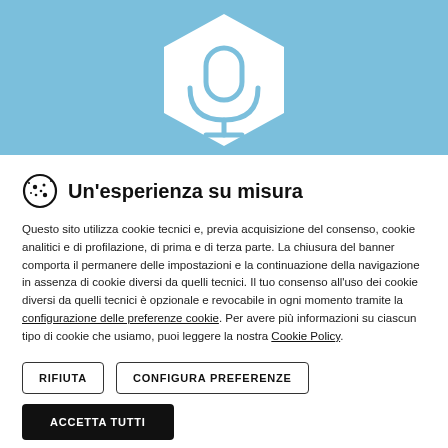[Figure (illustration): Light blue hero banner with a white hexagon shape containing a light blue microphone icon centered within it]
Un'esperienza su misura
Questo sito utilizza cookie tecnici e, previa acquisizione del consenso, cookie analitici e di profilazione, di prima e di terza parte. La chiusura del banner comporta il permanere delle impostazioni e la continuazione della navigazione in assenza di cookie diversi da quelli tecnici. Il tuo consenso all'uso dei cookie diversi da quelli tecnici è opzionale e revocabile in ogni momento tramite la configurazione delle preferenze cookie. Per avere più informazioni su ciascun tipo di cookie che usiamo, puoi leggere la nostra Cookie Policy.
RIFIUTA
CONFIGURA PREFERENZE
ACCETTA TUTTI